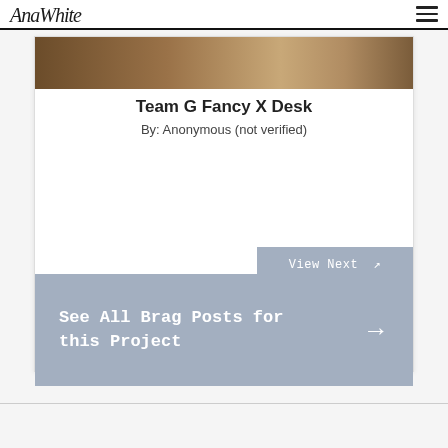AnaWhite [logo] | hamburger menu
[Figure (photo): Partial view of a wood desk photo at the top of the card]
Team G Fancy X Desk
By: Anonymous (not verified)
View Next →
See All Brag Posts for this Project →